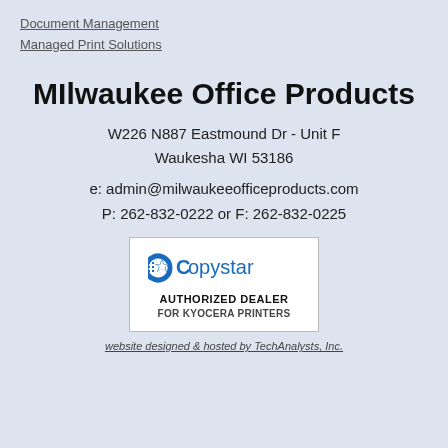Document Management
Managed Print Solutions
MIlwaukee Office Products
W226 N887 Eastmound Dr - Unit F
Waukesha WI 53186
e: admin@milwaukeeofficeproducts.com
P: 262-832-0222 or F: 262-832-0225
[Figure (logo): Copystar Authorized Dealer for Kyocera Printers logo in a white bordered box]
website designed & hosted by TechAnalysts, Inc.